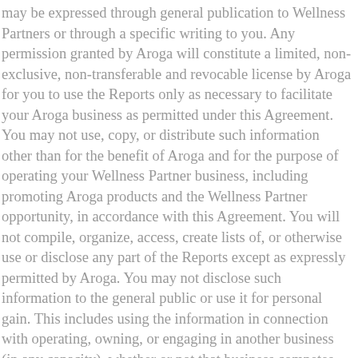may be expressed through general publication to Wellness Partners or through a specific writing to you. Any permission granted by Aroga will constitute a limited, non-exclusive, non-transferable and revocable license by Aroga for you to use the Reports only as necessary to facilitate your Aroga business as permitted under this Agreement. You may not use, copy, or distribute such information other than for the benefit of Aroga and for the purpose of operating your Wellness Partner business, including promoting Aroga products and the Wellness Partner opportunity, in accordance with this Agreement. You will not compile, organize, access, create lists of, or otherwise use or disclose any part of the Reports except as expressly permitted by Aroga. You may not disclose such information to the general public or use it for personal gain. This includes using the information in connection with operating, owning, or engaging in another business (in any capacity), whether or not that business competes with Aroga or its products or services. Aroga may deny